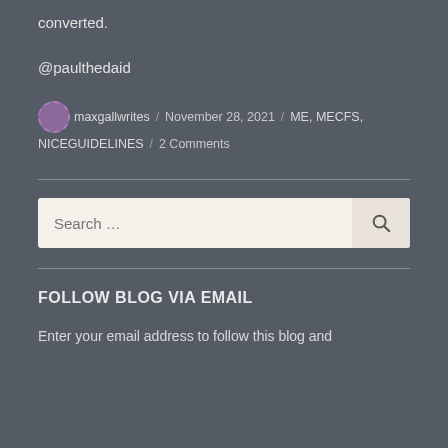converted.
@paulthedaid
maxgallwrites / November 28, 2021 / ME, MECFS, NICEGUIDELINES / 2 Comments
[Figure (other): Horizontal divider line]
[Figure (other): Search box with Search... placeholder and magnifying glass icon]
[Figure (other): Horizontal divider line]
FOLLOW BLOG VIA EMAIL
Enter your email address to follow this blog and